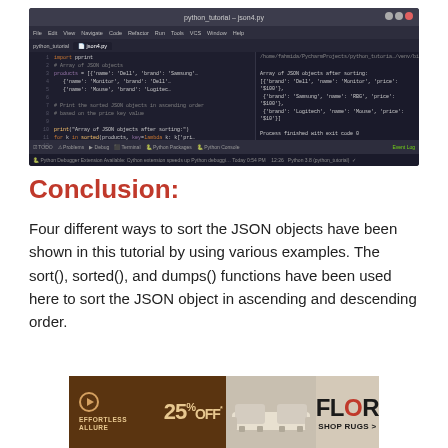[Figure (screenshot): PyCharm IDE screenshot showing Python code for sorting JSON objects (json4.py), with editor panel on left displaying code with JSON products array and sorted output, and output panel on right showing sorted JSON results. Status bar and menu bar visible.]
Conclusion:
Four different ways to sort the JSON objects have been shown in this tutorial by using various examples. The sort(), sorted(), and dumps() functions have been used here to sort the JSON object in ascending and descending order.
[Figure (other): Advertisement banner for FLOR Shop Rugs featuring 25% OFF promotion with tagline EFFORTLESS ALLURE, image of a sofa/rug, and FLOR SHOP RUGS > call to action on brown and beige background.]